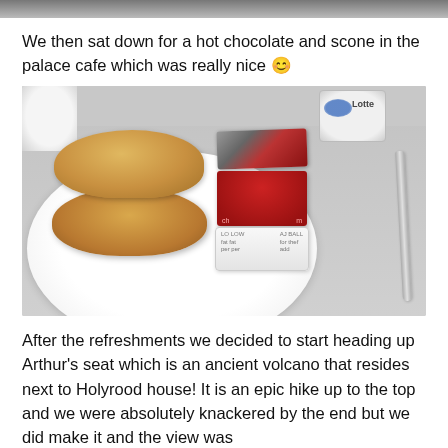[Figure (photo): Partial top strip of a previous photo visible at the top of the page]
We then sat down for a hot chocolate and scone in the palace cafe which was really nice 😊
[Figure (photo): Photo of a scone on a white plate with a foil-topped jam pot, a clotted cream pot, and a knife on a grey table. A blue mug is visible in the background.]
After the refreshments we decided to start heading up Arthur's seat which is an ancient volcano that resides next to Holyrood house! It is an epic hike up to the top and we were absolutely knackered by the end but we did make it and the view was